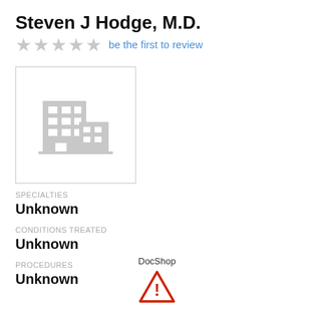Steven J Hodge, M.D.
★★★★★ be the first to review
[Figure (illustration): Building/office placeholder icon in light gray, inside a bordered rectangle]
SPECIALTIES
Unknown
CONDITIONS TREATED
Unknown
PROCEDURES
Unknown
DocShop
[Figure (illustration): Red triangle warning/alert icon with exclamation mark]